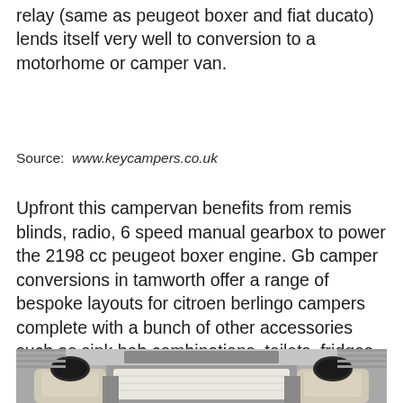relay (same as peugeot boxer and fiat ducato) lends itself very well to conversion to a motorhome or camper van.
Source: www.keycampers.co.uk
Upfront this campervan benefits from remis blinds, radio, 6 speed manual gearbox to power the 2198 cc peugeot boxer engine. Gb camper conversions in tamworth offer a range of bespoke layouts for citroen berlingo campers complete with a bunch of other accessories such as sink hob combinations, toilets, fridges and more.
[Figure (photo): Interior view of a campervan showing front seats with headrests, dashboard area, and privacy/thermal reflective screens on the windscreen. The image is taken from behind looking forward toward the cab area.]